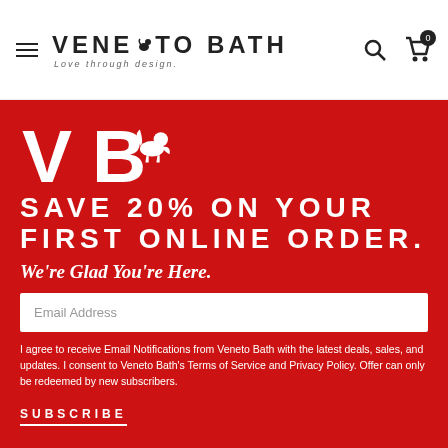VENETO BATH — Love through design.
[Figure (logo): Veneto Bath logo with winged lion mascot and tagline 'Love through design.']
[Figure (logo): Large white VB letters with winged lion mascot on red background]
SAVE 20% ON YOUR FIRST ONLINE ORDER.
We're Glad You're Here.
Email Address
I agree to receive Email Notifications from Veneto Bath with the latest deals, sales, and updates. I consent to Veneto Bath's Terms of Service and Privacy Policy. Offer can only be redeemed by new subscribers.
SUBSCRIBE